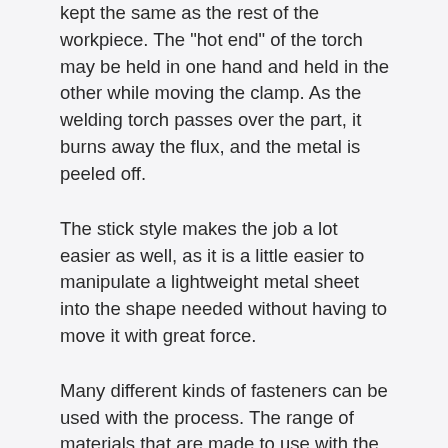kept the same as the rest of the workpiece. The "hot end" of the torch may be held in one hand and held in the other while moving the clamp. As the welding torch passes over the part, it burns away the flux, and the metal is peeled off.
The stick style makes the job a lot easier as well, as it is a little easier to manipulate a lightweight metal sheet into the shape needed without having to move it with great force.
Many different kinds of fasteners can be used with the process. The range of materials that are made to use with the